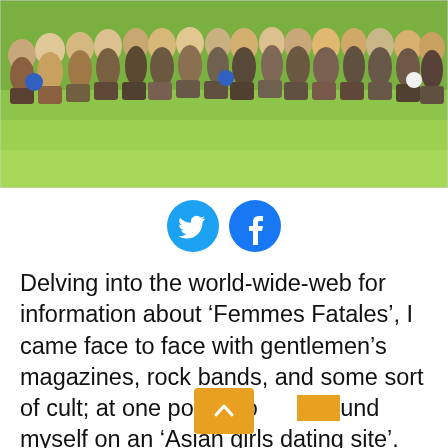[Figure (photo): Group of people crouching/sitting outdoors on grass, posing for a photo. Appears to be a large group of women.]
[Figure (infographic): Two social media icons: Twitter (blue bird) and Facebook (blue f)]
Delving into the world-wide-web for information about ‘Femmes Fatales’, I came face to face with gentlemen’s magazines, rock bands, and some sort of cult; at one point I found myself on an ‘Asian girls dating site’. And then: bingo! I was